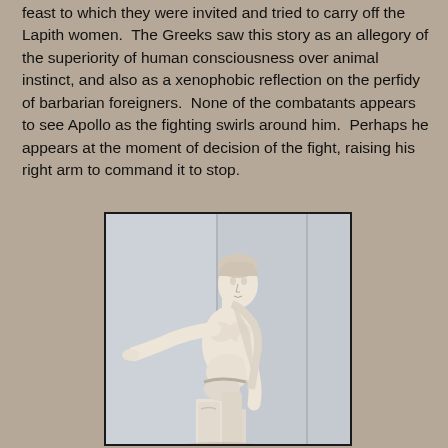feast to which they were invited and tried to carry off the Lapith women.  The Greeks saw this story as an allegory of the superiority of human consciousness over animal instinct, and also as a xenophobic reflection on the perfidy of barbarian foreigners.  None of the combatants appears to see Apollo as the fighting swirls around him.  Perhaps he appears at the moment of decision of the fight, raising his right arm to command it to stop.
[Figure (photo): Photograph of the Apollo of Olympia statue, a white marble figure with right arm extended outward and left arm at side, looking to the right, partially draped, standing in a museum setting with light grey paneled walls.]